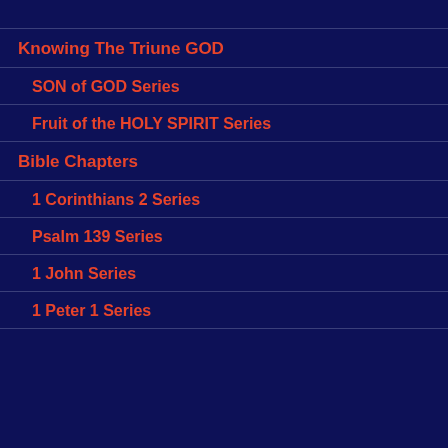Knowing The Triune GOD
SON of GOD Series
Fruit of the HOLY SPIRIT Series
Bible Chapters
1 Corinthians 2 Series
Psalm 139 Series
1 John Series
1 Peter 1 Series